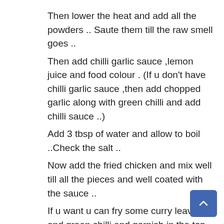Then lower the heat and add all the powders .. Saute them till the raw smell goes ..
Then add chilli garlic sauce ,lemon juice and food colour . (If u don't have chilli garlic sauce ,then add chopped garlic along with green chilli and add chilli sauce ..)
Add 3 tbsp of water and allow to boil ..Check the salt ..
Now add the fried chicken and mix well till all the pieces and well coated with the sauce ..
If u want u can fry some curry leaves and green chilli and garnish in the top..